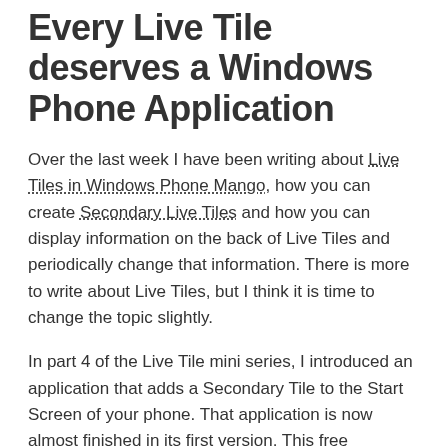Every Live Tile deserves a Windows Phone Application
Over the last week I have been writing about Live Tiles in Windows Phone Mango, how you can create Secondary Live Tiles and how you can display information on the back of Live Tiles and periodically change that information. There is more to write about Live Tiles, but I think it is time to change the topic slightly.
In part 4 of the Live Tile mini series, I introduced an application that adds a Secondary Tile to the Start Screen of your phone. That application is now almost finished in its first version. This free application has a Secondary Tile, it contains an AdControl, deals with location awareness and periodically updates the Secondary Tile. It also can access Marketplace, both to submit a review for the application and to display other applications that are